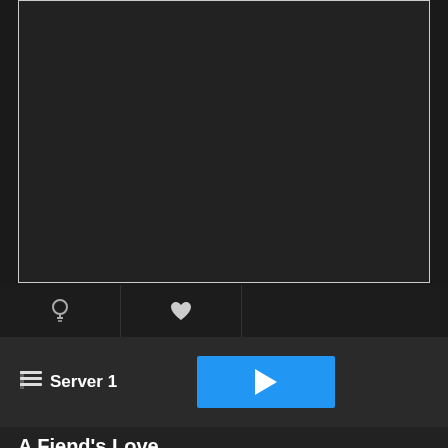[Figure (screenshot): Dark video player area with light border, showing a black/dark screen]
[Figure (screenshot): Toolbar with lightbulb icon and heart icon buttons]
[Figure (screenshot): Server bar with list icon, 'Server 1' label, and a blue play button]
A Fiend's Love